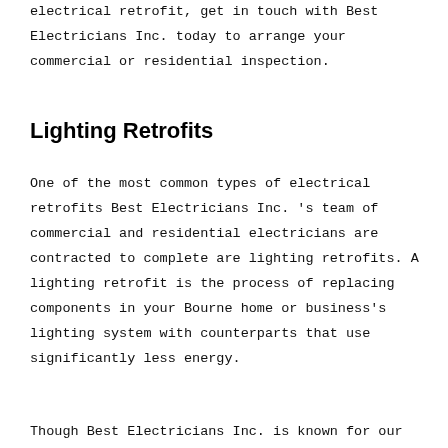electrical retrofit, get in touch with Best Electricians Inc. today to arrange your commercial or residential inspection.
Lighting Retrofits
One of the most common types of electrical retrofits Best Electricians Inc. 's team of commercial and residential electricians are contracted to complete are lighting retrofits. A lighting retrofit is the process of replacing components in your Bourne home or business's lighting system with counterparts that use significantly less energy.
Though Best Electricians Inc. is known for our